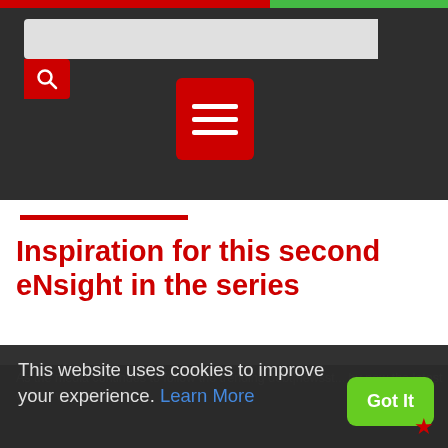[Figure (screenshot): Website header with dark background, search bar with red search button, and red hamburger menu button with three white horizontal lines]
Inspiration for this second eNsight in the series
As the media continues to follow the trending debt|newsst... by now the latest COV... variants...
This website uses cookies to improve your experience. Learn More
Got It